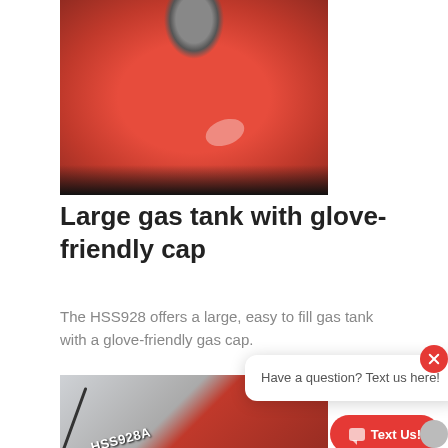[Figure (photo): Close-up top-down view of a red Honda HSS928 snow blower gas tank with a large black glove-friendly cap in the center]
Large gas tank with glove-friendly cap
The HSS928 offers a large, easy to fill gas tank with a glove-friendly gas cap.
[Figure (photo): Close-up of red Honda HSS928A snow blower showing the model label decal and a hydraulic/mechanical rod, with snow in background]
Have a question?  Text us here!